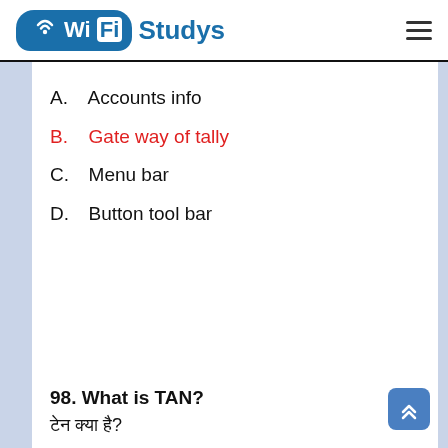Wi Fi Studys
A.  Accounts info
B.  Gate way of tally
C.  Menu bar
D.  Button tool bar
98. What is TAN?
टेन क्या है?